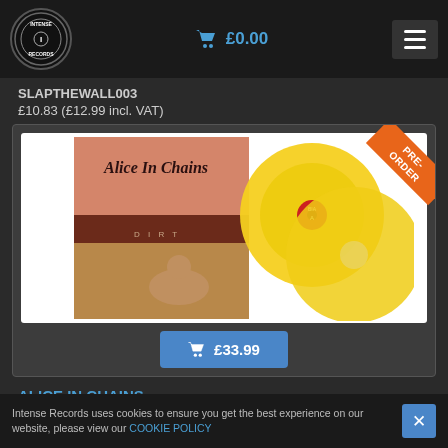Intense Records — £0.00
SLAPTHEWALL003
£10.83 (£12.99 incl. VAT)
[Figure (photo): Alice in Chains album product image showing the 'Dirt' album cover artwork alongside two yellow vinyl records. A pre-order orange ribbon is shown in the top-right corner. An 'Add to cart £33.99' button appears below the image.]
ALICE IN CHAINS
Intense Records uses cookies to ensure you get the best experience on our website, please view our COOKIE POLICY